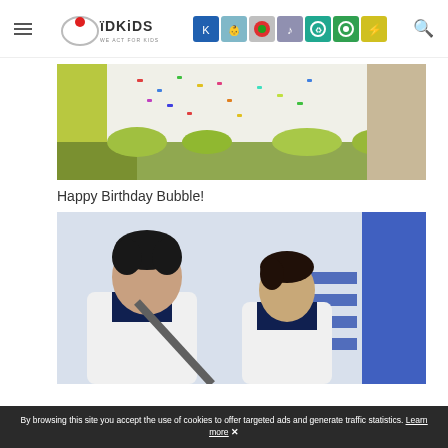IDKiDS — WE ACT FOR KIDS
[Figure (photo): Close-up photo of a decorated birthday cake with white frosting, colorful sprinkles on top, and green frosted bottom portion]
Happy Birthday Bubble!
[Figure (photo): Photo of two children wearing white jackets and dark navy clothing, standing against a light blue background with blue stripe decorations]
By browsing this site you accept the use of cookies to offer targeted ads and generate traffic statistics. Learn more ✕